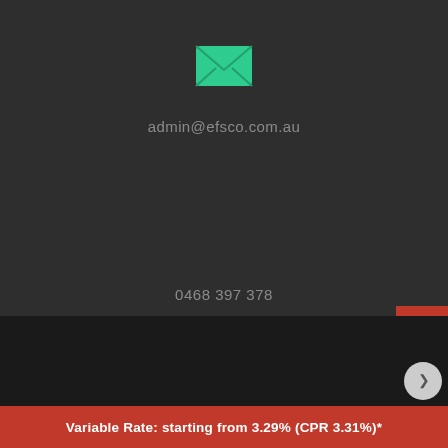[Figure (illustration): Green email envelope icon centered near top of dark background]
admin@efsco.com.au
0468 397 378
0468 EXPERT
[Figure (illustration): Right sidebar with four red square icon buttons: email, phone, weibo, wechat]
[Figure (screenshot): Dark map area at bottom of page]
Variable Rate: starting from 3.29% (CPR 3.31%)*